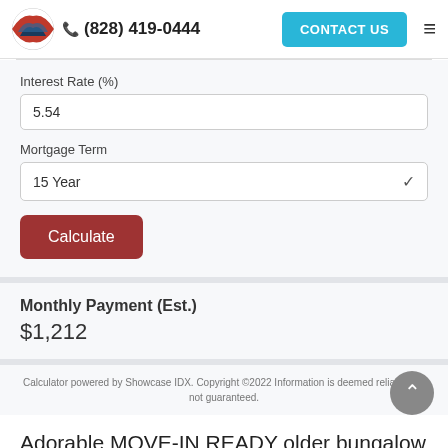(828) 419-0444  CONTACT US
Interest Rate (%)
5.54
Mortgage Term
15 Year
Calculate
Monthly Payment (Est.)
$1,212
Calculator powered by Showcase IDX. Copyright ©2022 Information is deemed reliable but not guaranteed.
Adorable MOVE-IN READY older bungalow in